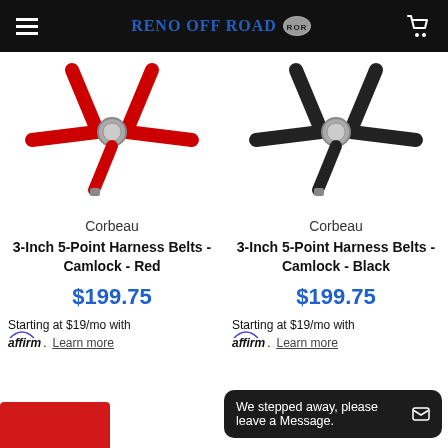Reno Off Road
[Figure (photo): Red 5-point racing harness on white background]
Corbeau
3-Inch 5-Point Harness Belts - Camlock - Red
$199.75
Starting at $19/mo with affirm. Learn more
[Figure (photo): Black 5-point racing harness on white background]
Corbeau
3-Inch 5-Point Harness Belts - Camlock - Black
$199.75
Starting at $19/mo with affirm. Learn more
We stepped away, please leave a Message.